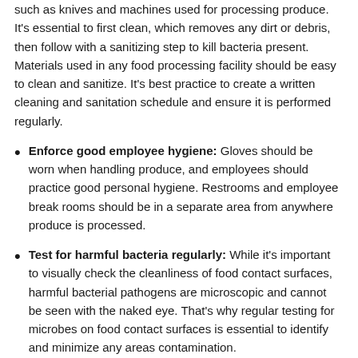such as knives and machines used for processing produce. It's essential to first clean, which removes any dirt or debris, then follow with a sanitizing step to kill bacteria present. Materials used in any food processing facility should be easy to clean and sanitize. It's best practice to create a written cleaning and sanitation schedule and ensure it is performed regularly.
Enforce good employee hygiene: Gloves should be worn when handling produce, and employees should practice good personal hygiene. Restrooms and employee break rooms should be in a separate area from anywhere produce is processed.
Test for harmful bacteria regularly: While it's important to visually check the cleanliness of food contact surfaces, harmful bacterial pathogens are microscopic and cannot be seen with the naked eye. That's why regular testing for microbes on food contact surfaces is essential to identify and minimize any areas contamination.